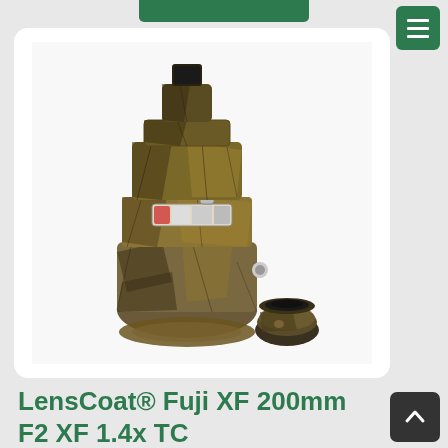[Figure (photo): A camera lens (Fuji XF 200mm F2) and a teleconverter (XF 1.4x TC) both covered in camouflage (Realtree Max-4 pattern) LensCoat protective covers. The lens stands upright and the teleconverter sits beside it to the lower right.]
LensCoat® Fuji XF 200mm F2 XF 1.4x TC